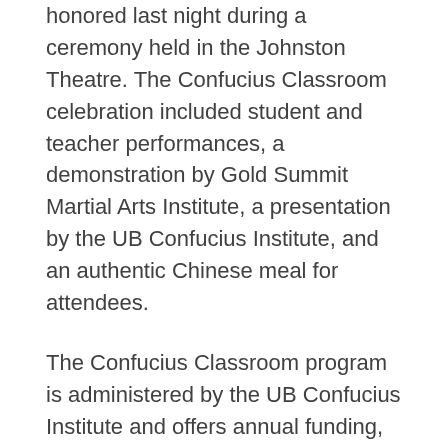honored last night during a ceremony held in the Johnston Theatre. The Confucius Classroom celebration included student and teacher performances, a demonstration by Gold Summit Martial Arts Institute, a presentation by the UB Confucius Institute, and an authentic Chinese meal for attendees.
The Confucius Classroom program is administered by the UB Confucius Institute and offers annual funding, materials, and guest teachers from China to help schools build strong and sustainable Chinese language programs.
The Confucius Classroom at Elmwood Franklin School is a resource for children to study all aspects of Chinese life and is led by two guest teachers from China, who teach Mandarin language and culture to